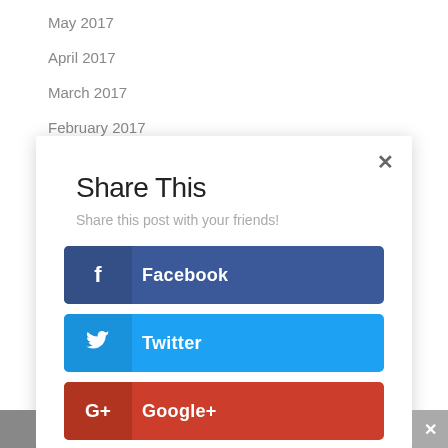May 2017
April 2017
March 2017
February 2017
Share This
Share this post with your friends!
Facebook
Twitter
Google+
LinkedIn